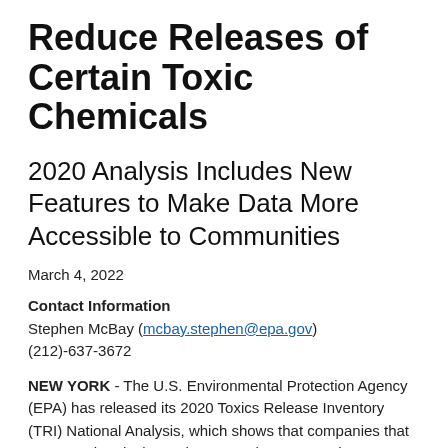Reduce Releases of Certain Toxic Chemicals
2020 Analysis Includes New Features to Make Data More Accessible to Communities
March 4, 2022
Contact Information
Stephen McBay (mcbay.stephen@epa.gov)
(212)-637-3672
NEW YORK - The U.S. Environmental Protection Agency (EPA) has released its 2020 Toxics Release Inventory (TRI) National Analysis, which shows that companies that manage chemicals continue to make progress in preventing pollution and reducing chemical releases.